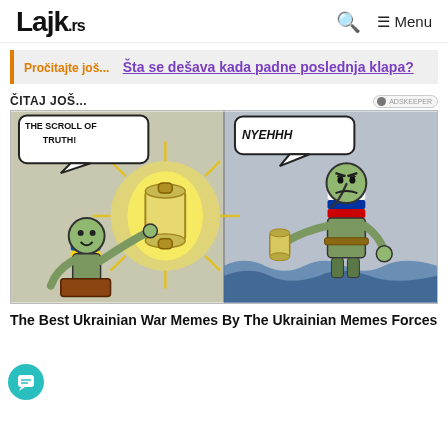Lajk.rs | Menu
Pročitajte još... Šta se dešava kada padne poslednja klapa?
ČITAJ JOŠ...
[Figure (illustration): Two-panel meme comic. Left panel: a cartoon character wearing a Ukrainian flag hat, opening a glowing scroll labeled 'THE SCROLL OF TRUTH!' with yellow starburst effects. Right panel: a cartoon character wearing a Russian flag hat, reacting with a speech bubble saying 'NYEHHH', standing in water.]
The Best Ukrainian War Memes By The Ukrainian Memes Forces